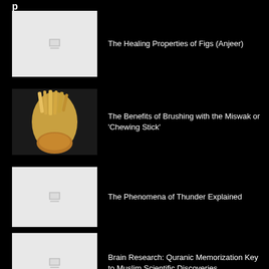The Healing Properties of Figs (Anjeer)
The Benefits of Brushing with the Miswak or 'Chewing Stick'
The Phenomena of Thunder Explained
Brain Research: Quranic Memorization Key to Muslim Scientific Discoveries